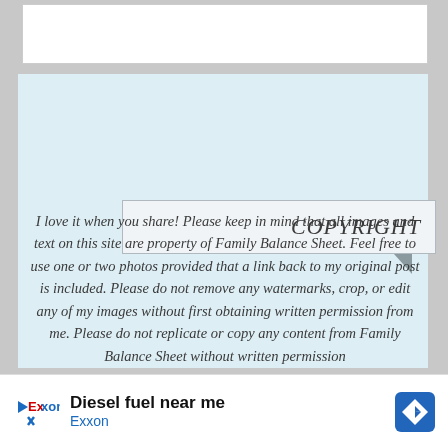[Figure (other): White rectangular box at the top of the page]
COPYRIGHT
I love it when you share! Please keep in mind that all images and text on this site are property of Family Balance Sheet. Feel free to use one or two photos provided that a link back to my original post is included. Please do not remove any watermarks, crop, or edit any of my images without first obtaining written permission from me. Please do not replicate or copy any content from Family Balance Sheet without written permission
[Figure (other): Advertisement bar: Exxon logo with text 'Diesel fuel near me' and 'Exxon', navigation icon on the right]